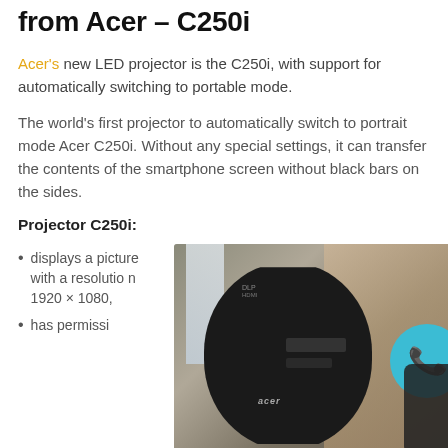from Acer – C250i
Acer's new LED projector is the C250i, with support for automatically switching to portable mode.
The world's first projector to automatically switch to portrait mode Acer C250i. Without any special settings, it can transfer the contents of the smartphone screen without black bars on the sides.
Projector C250i:
displays a picture with a resolution 1920 × 1080,
has permissi
[Figure (photo): Photo of the back of the Acer C250i projector showing ports (HDMI, USB, audio jack), the Acer logo, and a remote control device. A blue circle with a phone icon is overlaid on the right side of the image.]